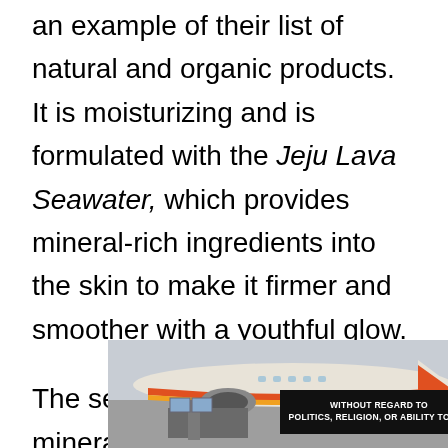an example of their list of natural and organic products. It is moisturizing and is formulated with the Jeju Lava Seawater, which provides mineral-rich ingredients into the skin to make it firmer and smoother with a youthful glow.
The seawater is full of special minerals that boost the skin's hydration and keeps the moisture barrier strong, which helps minimize the appearance of signs like
[Figure (photo): Advertisement banner showing a cargo airplane being loaded, with a dark overlay box in the bottom right containing text 'WITHOUT REGARD TO POLITICS, RELIGION, OR ABILITY TO PAY']